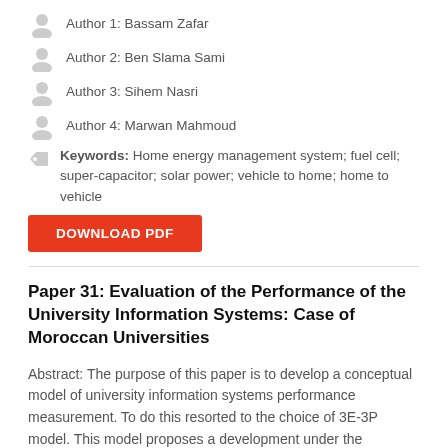Author 1: Bassam Zafar
Author 2: Ben Slama Sami
Author 3: Sihem Nasri
Author 4: Marwan Mahmoud
Keywords: Home energy management system; fuel cell; super-capacitor; solar power; vehicle to home; home to vehicle
Paper 31: Evaluation of the Performance of the University Information Systems: Case of Moroccan Universities
Abstract: The purpose of this paper is to develop a conceptual model of university information systems performance measurement. To do this resorted to the choice of 3E-3P model. This model proposes a development under the spectrum of the systemic approach. The objective is to provide a tool to decision-